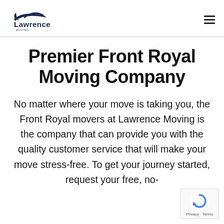Lawrence Moving logo and navigation
Premier Front Royal Moving Company
No matter where your move is taking you, the Front Royal movers at Lawrence Moving is the company that can provide you with the quality customer service that will make your move stress-free. To get your journey started, request your free, no-